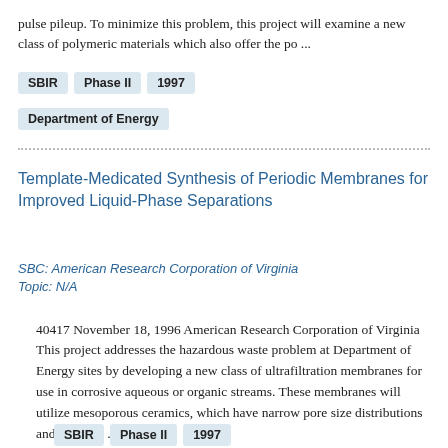pulse pileup. To minimize this problem, this project will examine a new class of polymeric materials which also offer the po ...
SBIR
Phase II
1997
Department of Energy
Template-Medicated Synthesis of Periodic Membranes for Improved Liquid-Phase Separations
SBC: American Research Corporation of Virginia
Topic: N/A
40417 November 18, 1996 American Research Corporation of Virginia This project addresses the hazardous waste problem at Department of Energy sites by developing a new class of ultrafiltration membranes for use in corrosive aqueous or organic streams. These membranes will utilize mesoporous ceramics, which have narrow pore size distributions and tailorabl ...
SBIR
Phase II
1997